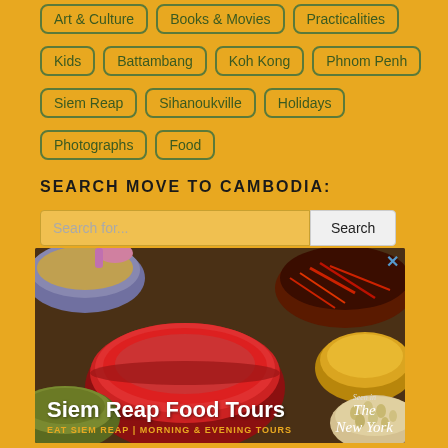Art & Culture | Books & Movies | Practicalities
Kids | Battambang | Koh Kong | Phnom Penh
Siem Reap | Sihanoukville | Holidays
Photographs | Food
SEARCH MOVE TO CAMBODIA:
Search for...
[Figure (photo): Advertisement for Siem Reap Food Tours showing colorful spice bowls with text: Siem Reap Food Tours, EAT SIEM REAP | MORNING & EVENING TOURS, Seen in The New York Times]